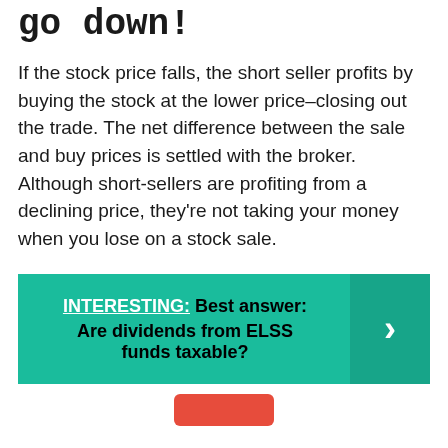go down!
If the stock price falls, the short seller profits by buying the stock at the lower price–closing out the trade. The net difference between the sale and buy prices is settled with the broker. Although short-sellers are profiting from a declining price, they're not taking your money when you lose on a stock sale.
INTERESTING:  Best answer: Are dividends from ELSS funds taxable?
[Figure (other): Red rounded rectangle button at bottom center of page]